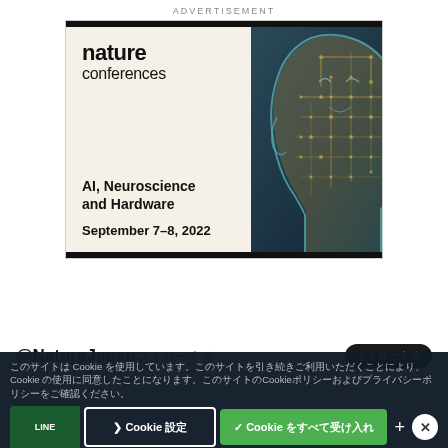ADVERTISEMENT
[Figure (infographic): Nature Conferences advertisement banner for 'AI, Neuroscience and Hardware' event, September 7-8, 2022. Left side shows the nature conferences logo and event details on a cream background. Right side shows an AI human head illustration with circuit board patterns.]
@NatureJapan フォローする
このサイトは Cookie を使用しています。このサイトを引き続きご利用いただくことにより、Cookie の使用に同意したことになります。
Cookie 設定
✓ Cookie をすべて受け入れ